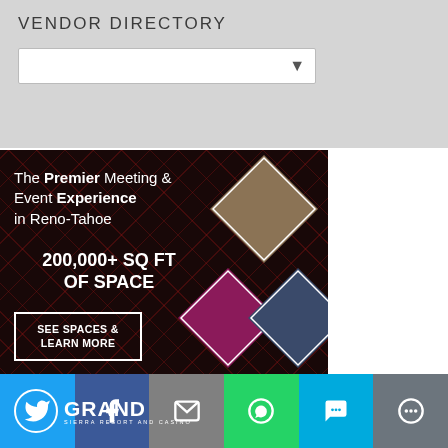VENDOR DIRECTORY
[Figure (screenshot): GSR Grand Sierra Resort and Casino advertisement banner. Dark red diamond-patterned background with hotel/event venue photos arranged in diamond shapes. Text reads: The Premier Meeting & Event Experience in Reno-Tahoe. 200,000+ SQ FT OF SPACE. SEE SPACES & LEARN MORE button. GSR Grand Sierra Resort and Casino logo.]
[Figure (screenshot): Partial second GSR Grand Sierra Resort advertisement banner, same design as above, partially cut off showing top portion: The Premier Meeting & Event Experience]
[Figure (infographic): Social share bar with six buttons: Twitter (blue), Facebook (dark blue), Email (grey), WhatsApp (green), SMS (light blue), More/Share (grey)]